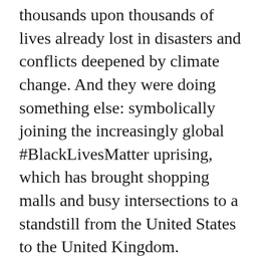thousands upon thousands of lives already lost in disasters and conflicts deepened by climate change. And they were doing something else: symbolically joining the increasingly global #BlackLivesMatter uprising, which has brought shopping malls and busy intersections to a standstill from the United States to the United Kingdom.
The courageous demonstrators shouting “I can’t breathe!” and “Hands up, don’t shoot!” are asserting a core principle about the value of every human being, starting with the most discounted. Standing in solidarity with their